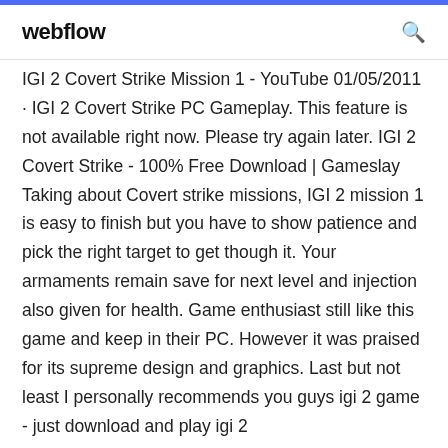webflow
IGI 2 Covert Strike Mission 1 - YouTube 01/05/2011 · IGI 2 Covert Strike PC Gameplay. This feature is not available right now. Please try again later. IGI 2 Covert Strike - 100% Free Download | Gameslay Taking about Covert strike missions, IGI 2 mission 1 is easy to finish but you have to show patience and pick the right target to get though it. Your armaments remain save for next level and injection also given for health. Game enthusiast still like this game and keep in their PC. However it was praised for its supreme design and graphics. Last but not least I personally recommends you guys igi 2 game - just download and play igi 2